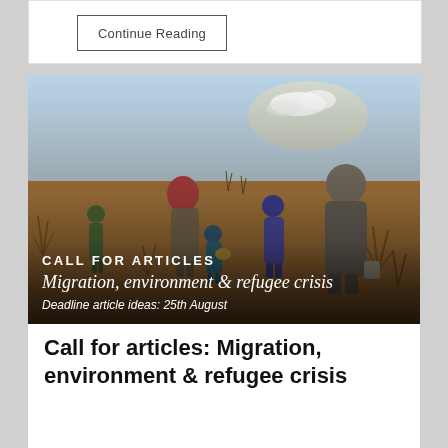Continue Reading
[Figure (photo): Group of people walking across a dry, arid desert landscape carrying belongings. Sparse dry shrubs visible. Text overlay reads CALL FOR ARTICLES, Migration, environment & refugee crisis, Deadline article ideas: 25th August]
CALL FOR ARTICLES
Migration, environment & refugee crisis
Deadline article ideas: 25th August
Call for articles: Migration, environment & refugee crisis